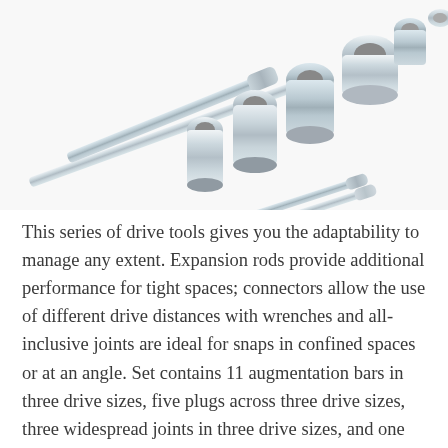[Figure (photo): A collection of chrome socket wrench extension bars and sockets of various sizes arranged diagonally on a white background.]
This series of drive tools gives you the adaptability to manage any extent. Expansion rods provide additional performance for tight spaces; connectors allow the use of different drive distances with wrenches and all-inclusive joints are ideal for snaps in confined spaces or at an angle. Set contains 11 augmentation bars in three drive sizes, five plugs across three drive sizes, three widespread joints in three drive sizes, and one shaft connection.